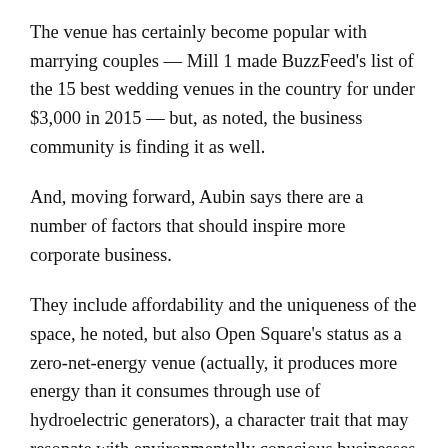The venue has certainly become popular with marrying couples — Mill 1 made BuzzFeed's list of the 15 best wedding venues in the country for under $3,000 in 2015 — but, as noted, the business community is finding it as well.
And, moving forward, Aubin says there are a number of factors that should inspire more corporate business.
They include affordability and the uniqueness of the space, he noted, but also Open Square's status as a zero-net-energy venue (actually, it produces more energy than it consumes through use of hydroelectric generators), a character trait that may resonate with environmentally conscious businesses and business